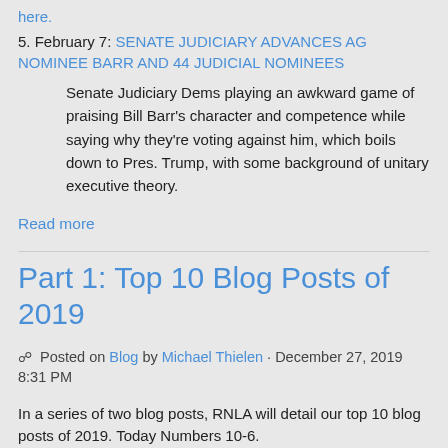here.
5. February 7: SENATE JUDICIARY ADVANCES AG NOMINEE BARR AND 44 JUDICIAL NOMINEES
Senate Judiciary Dems playing an awkward game of praising Bill Barr's character and competence while saying why they're voting against him, which boils down to Pres. Trump, with some background of unitary executive theory.
Read more
Part 1: Top 10 Blog Posts of 2019
Posted on Blog by Michael Thielen · December 27, 2019 8:31 PM
In a series of two blog posts, RNLA will detail our top 10 blog posts of 2019.  Today Numbers 10-6.
10.  May 1: TOP MOMENTS OF BARR HEARING
Attorney General Bill Barr drives it home -"How did we get to this point? The President was falsely accused of colluding with Russians - the evidence shows those allegations are false. To